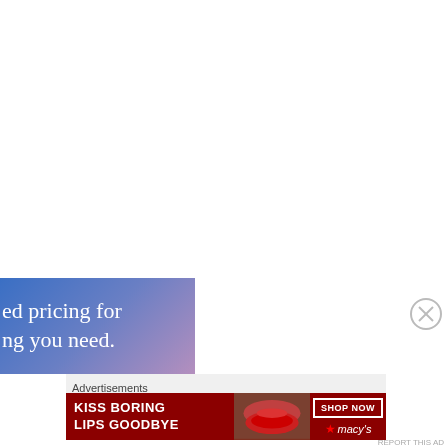[Figure (illustration): Partial advertisement banner with blue-to-purple gradient background showing partial text 'ed pricing for ng you need.' in white serif font]
[Figure (illustration): Close/dismiss button (circled X) on right side]
Advertisements
[Figure (illustration): Macy's advertisement banner with dark red background, text 'KISS BORING LIPS GOODBYE', photo of woman's face with red lips, and 'SHOP NOW' button with Macy's star logo]
REPORT THIS AD